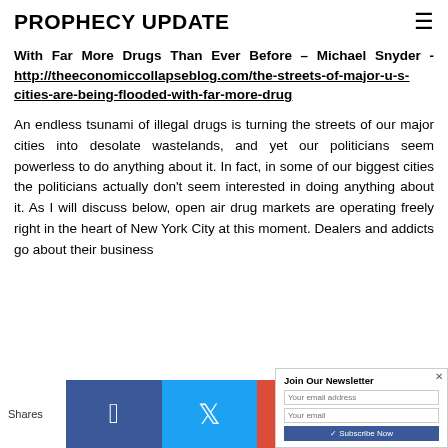PROPHECY UPDATE
With Far More Drugs Than Ever Before – Michael Snyder - http://theeconomiccollapseblog.com/the-streets-of-major-u-s-cities-are-being-flooded-with-far-more-drug
An endless tsunami of illegal drugs is turning the streets of our major cities into desolate wastelands, and yet our politicians seem powerless to do anything about it. In fact, in some of our biggest cities the politicians actually don't seem interested in doing anything about it. As I will discuss below, open air drug markets are operating freely right in the heart of New York City at this moment. Dealers and addicts go about their business...